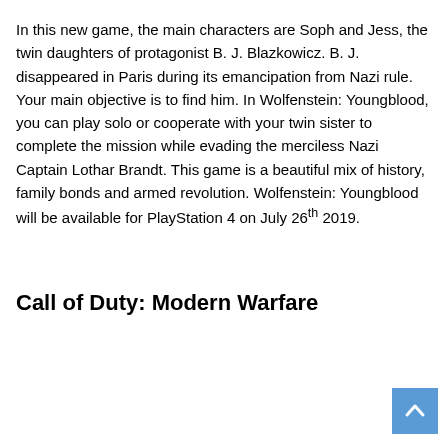In this new game, the main characters are Soph and Jess, the twin daughters of protagonist B. J. Blazkowicz. B. J. disappeared in Paris during its emancipation from Nazi rule. Your main objective is to find him. In Wolfenstein: Youngblood, you can play solo or cooperate with your twin sister to complete the mission while evading the merciless Nazi Captain Lothar Brandt. This game is a beautiful mix of history, family bonds and armed revolution. Wolfenstein: Youngblood will be available for PlayStation 4 on July 26th 2019.
Call of Duty: Modern Warfare